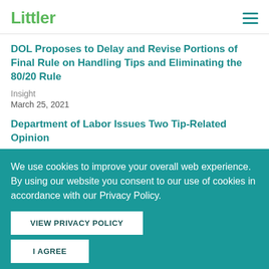Littler
DOL Proposes to Delay and Revise Portions of Final Rule on Handling Tips and Eliminating the 80/20 Rule
Insight
March 25, 2021
Department of Labor Issues Two Tip-Related Opinion Letters in Final Days of Outgoing Administration
We use cookies to improve your overall web experience. By using our website you consent to our use of cookies in accordance with our Privacy Policy.
VIEW PRIVACY POLICY
I AGREE